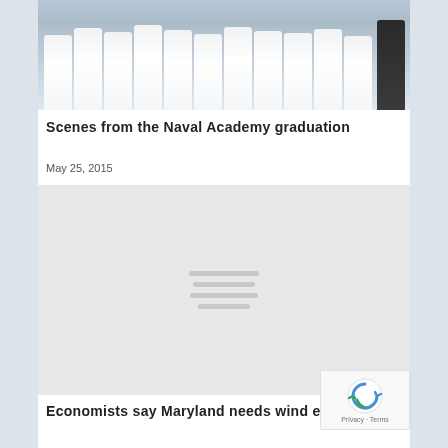[Figure (photo): Row of naval officers in white dress uniforms at graduation ceremony, with one figure in dark uniform on the right]
Scenes from the Naval Academy graduation
May 25, 2015
[Figure (photo): Loading placeholder image with grey background and horizontal loading indicator lines]
Economists say Maryland needs wind energy, but